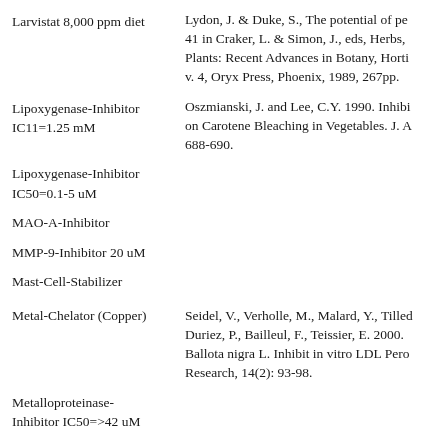Larvistat 8,000 ppm diet
Lydon, J. & Duke, S., The potential of pe... 41 in Craker, L. & Simon, J., eds, Herbs, Plants: Recent Advances in Botany, Horti... v. 4, Oryx Press, Phoenix, 1989, 267pp.
Lipoxygenase-Inhibitor IC11=1.25 mM
Oszmianski, J. and Lee, C.Y. 1990. Inhibi... on Carotene Bleaching in Vegetables. J. A... 688-690.
Lipoxygenase-Inhibitor IC50=0.1-5 uM
MAO-A-Inhibitor
MMP-9-Inhibitor 20 uM
Mast-Cell-Stabilizer
Metal-Chelator (Copper)
Seidel, V., Verholle, M., Malard, Y., Tilled... Duriez, P., Bailleul, F., Teissier, E. 2000. ... Ballota nigra L. Inhibit in vitro LDL Pero... Research, 14(2): 93-98.
Metalloproteinase-Inhibitor IC50=>42 uM
Mutagenic
NADH-Oxidase-Inhibitor
NEP-Inhibitor IC50=>42 uM